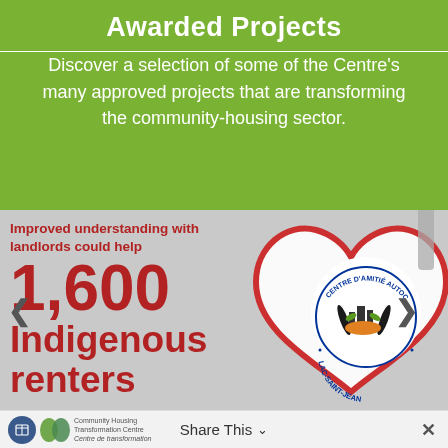Awarded Projects
Discover a selection of some of the Centre's many approved projects that are transforming the community-housing sector.
[Figure (infographic): Infographic showing a red heart outline with 'Centre d'Amitié Autochtone Lac-Saint-Jean' logo in the center, with text: 'Improved understanding with landlords could help 1,600 Indigenous renters']
Share This ∨  ×